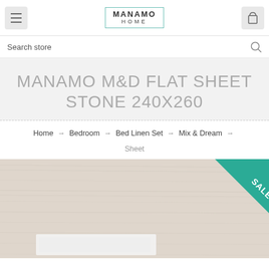MANAMO HOME
Search store
MANAMO M&D FLAT SHEET STONE 240X260
Home → Bedroom → Bed Linen Set → Mix & Dream → Sheet
[Figure (photo): Product photo showing a flat sheet on a wooden surface with a SALE badge in the top right corner]